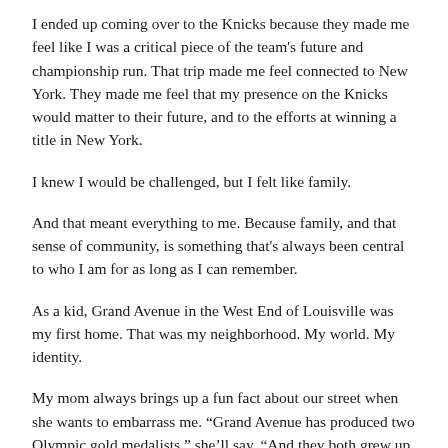I ended up coming over to the Knicks because they made me feel like I was a critical piece of the team's future and championship run. That trip made me feel connected to New York. They made me feel that my presence on the Knicks would matter to their future, and to the efforts at winning a title in New York.
I knew I would be challenged, but I felt like family.
And that meant everything to me. Because family, and that sense of community, is something that's always been central to who I am for as long as I can remember.
As a kid, Grand Avenue in the West End of Louisville was my first home. That was my neighborhood. My world. My identity.
My mom always brings up a fun fact about our street when she wants to embarrass me. “Grand Avenue has produced two Olympic gold medalists,” she’ll say. “And they both grew up on the same street, two doors down from one another. Allan Houston and Muhammad Ali.”